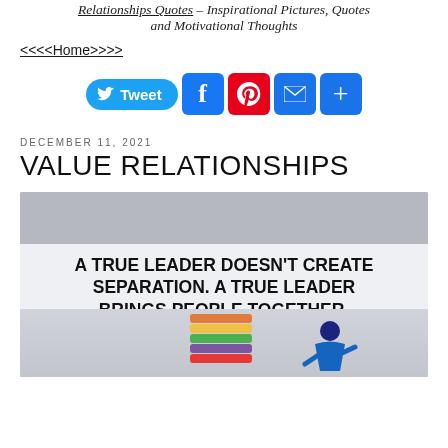Relationships Quotes – Inspirational Pictures, Quotes and Motivational Thoughts
<<<<Home>>>>
[Figure (infographic): Social sharing buttons: Tweet (Twitter), Facebook, Pinterest, Mail, Share (plus icon)]
DECEMBER 11, 2021
VALUE RELATIONSHIPS
[Figure (illustration): Illustration of a person pulling a colorful rope/pencil stack with text: 'A TRUE LEADER DOESN'T CREATE SEPARATION. A TRUE LEADER BRINGS PEOPLE TOGETHER.' on a gray and white background.]